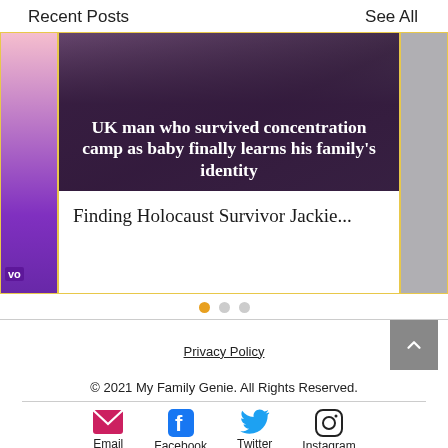Recent Posts    See All
[Figure (screenshot): Carousel of recent blog posts. Center card shows an image of a person with headline 'UK man who survived concentration camp as baby finally learns his family's identity' overlaid in white text, and below the image the subtitle 'Finding Holocaust Survivor Jackie...']
Finding Holocaust Survivor Jackie...
Privacy Policy
© 2021 My Family Genie. All Rights Reserved.
Email  Facebook  Twitter  Instagram